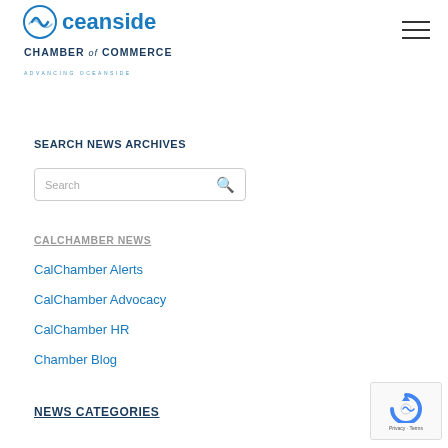[Figure (logo): Oceanside Chamber of Commerce logo with wave icon and text 'ADVANCING OCEANSIDE']
[Figure (other): Hamburger menu icon (three horizontal lines)]
SEARCH NEWS ARCHIVES
[Figure (other): Search input box with placeholder text 'Search' and magnifying glass icon]
CALCHAMBER NEWS
CalChamber Alerts
CalChamber Advocacy
CalChamber HR
Chamber Blog
NEWS CATEGORIES
[Figure (other): reCAPTCHA Privacy - Terms badge]